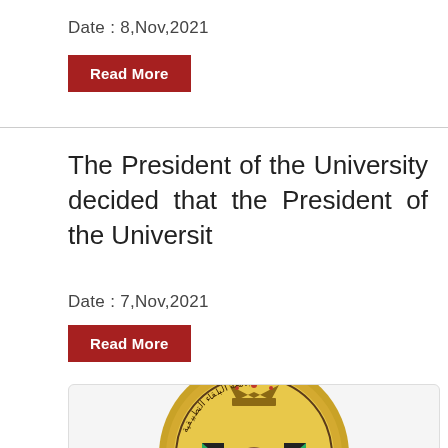Date : 8,Nov,2021
Read More
The President of the University decided that the President of the Universit
Date : 7,Nov,2021
Read More
[Figure (logo): Circular university seal/emblem with gold background, crown at top, and Arabic text around the border with colorful emblems in the center]